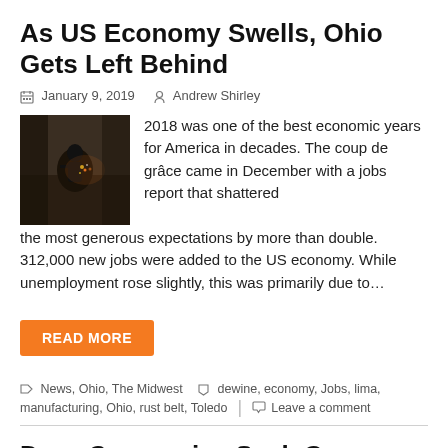As US Economy Swells, Ohio Gets Left Behind
January 9, 2019   Andrew Shirley
[Figure (photo): Dark industrial/factory scene, person in silhouette working]
2018 was one of the best economic years for America in decades. The coup de grâce came in December with a jobs report that shattered the most generous expectations by more than double. 312,000 new jobs were added to the US economy. While unemployment rose slightly, this was primarily due to…
READ MORE
News, Ohio, The Midwest   dewine, economy, Jobs, lima, manufacturing, Ohio, rust belt, Toledo   Leave a comment
Drug Companies Seek Gag Order Against Republican Gov.-Elect Mike DeWine for Speaking Out on Opioid Crisis